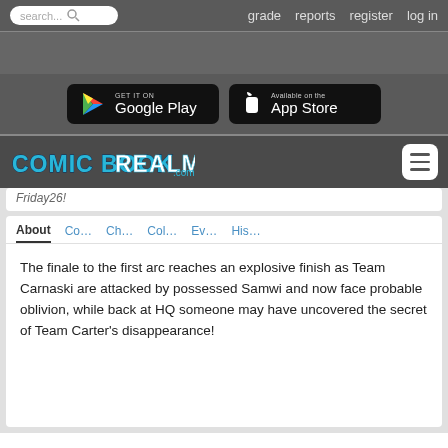search... grade reports register log in
[Figure (screenshot): Google Play and App Store download buttons on dark background]
[Figure (logo): Comic Book Realm .com logo in stylized blue text]
Friday26!
About Co... Ch... Col... Ev... His...
The finale to the first arc reaches an explosive finish as Team Carnaski are attacked by possessed Samwi and now face probable oblivion, while back at HQ someone may have uncovered the secret of Team Carter's disappearance!